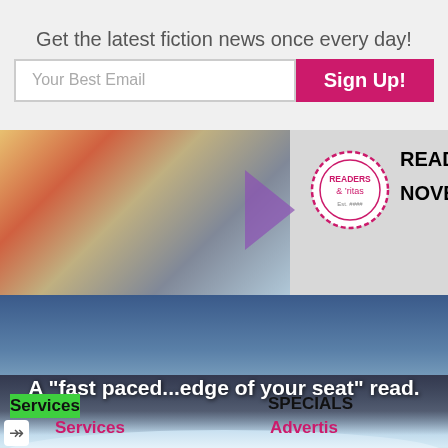Get the latest fiction news once every day!
[Figure (screenshot): Email signup form with 'Your Best Email' input field and pink 'Sign Up!' button]
[Figure (photo): Readers & 'ritas event banner with book collage on left, circular logo badge, and text 'READERS & 'R... NOVEMBER 12...']
[Figure (photo): Winter snow scene with bridge/railway, text overlay: A "fast paced...edge of your seat" read.]
[Figure (photo): Green background section with book thumbnail and small Readers & ritas badge]
Services
SPECIALS
Services
Advertising
FAQ
Privacy Policy
Advertis...
Advertis...
Fresh Ac...
Premium...